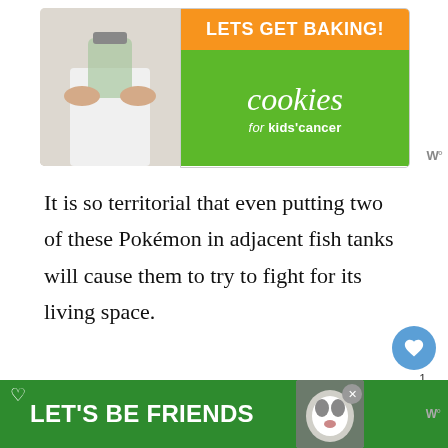[Figure (screenshot): Advertisement banner for 'cookies for kids cancer' with orange top strip reading 'LETS GET BAKING!' and green area with cookies text, photo of hands holding glass jar]
It is so territorial that even putting two of these Pokémon in adjacent fish tanks will cause them to try to fight for its living space.
Stats
Basculin is a very fast fish Pokémon, with a speed stat of 98 and an attack of 92. It can be a fierce fighter, and a good creature to invest in.
[Figure (screenshot): Bottom advertisement banner with green background reading LET'S BE FRIENDS with dog image]